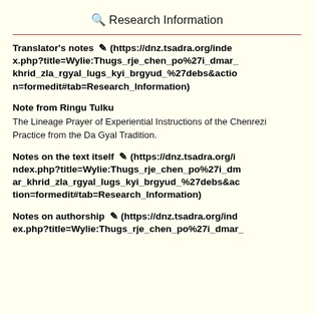🔍 Research Information
Translator's notes ✏️ (https://dnz.tsadra.org/index.php?title=Wylie:Thugs_rje_chen_po%27i_dmar_khrid_zla_rgyal_lugs_kyi_brgyud_%27debs&action=formedit#tab=Research_Information)
Note from Ringu Tulku
The Lineage Prayer of Experiential Instructions of the Chenrezi Practice from the Da Gyal Tradition.
Notes on the text itself ✏️ (https://dnz.tsadra.org/index.php?title=Wylie:Thugs_rje_chen_po%27i_dmar_khrid_zla_rgyal_lugs_kyi_brgyud_%27debs&action=formedit#tab=Research_Information)
Notes on authorship ✏️ (https://dnz.tsadra.org/index.php?title=Wylie:Thugs_rje_chen_po%27i_dmar_khrid_zla_rgyal_lugs_kyi_brgyud_%27debs&action=formedit#tab=Research_Information)